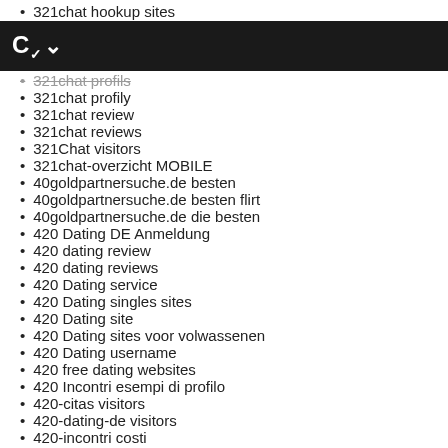321chat hookup sites
C~
321chat profils
321chat profily
321chat review
321chat reviews
321Chat visitors
321chat-overzicht MOBILE
40goldpartnersuche.de besten
40goldpartnersuche.de besten flirt
40goldpartnersuche.de die besten
420 Dating DE Anmeldung
420 dating review
420 dating reviews
420 Dating service
420 Dating singles sites
420 Dating site
420 Dating sites voor volwassenen
420 Dating username
420 free dating websites
420 Incontri esempi di profilo
420-citas visitors
420-dating-de visitors
420-incontri costi
420-incontri review